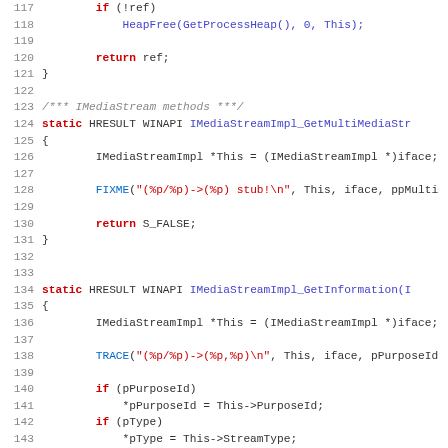Source code listing lines 117-148, C code for IMediaStream implementation